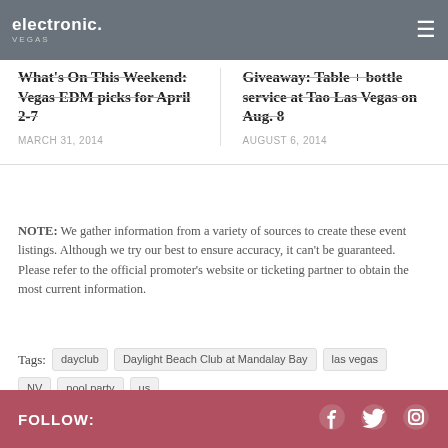electronic.vegas
What's On This Weekend: Vegas EDM picks for April 2-7
MARCH 31, 2014
Giveaway: Table + bottle service at Tao Las Vegas on Aug. 8
AUGUST 6, 2014
NOTE: We gather information from a variety of sources to create these event listings. Although we try our best to ensure accuracy, it can't be guaranteed. Please refer to the official promoter's website or ticketing partner to obtain the most current information.
Tags: dayclub  Daylight Beach Club at Mandalay Bay  las vegas  NV  pool party  us
FOLLOW: